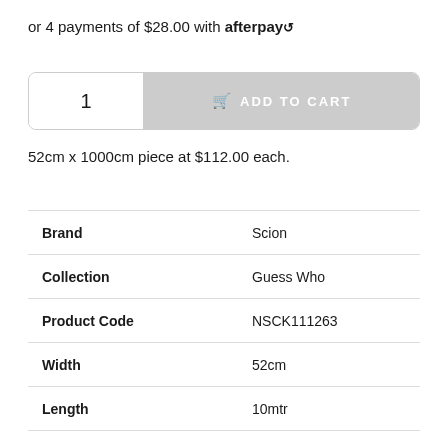or 4 payments of $28.00 with afterpay
[Figure (other): Add to cart button with quantity selector showing 1]
52cm x 1000cm piece at $112.00 each.
| Attribute | Value |
| --- | --- |
| Brand | Scion |
| Collection | Guess Who |
| Product Code | NSCK111263 |
| Width | 52cm |
| Length | 10mtr |
| Repeat Type | NIL |
| Application | Paste the Paper |